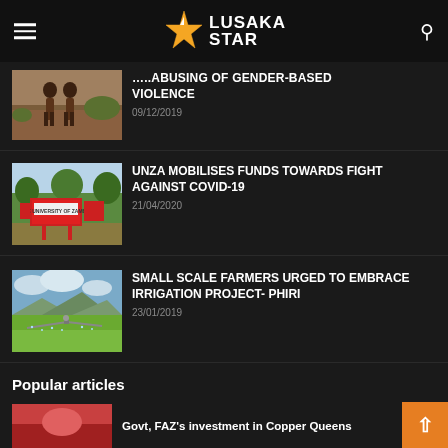Lusaka Star
VIOLENCE — 09/12/2019
[Figure (photo): Two people in brown/red traditional clothing walking in a field]
UNZA MOBILISES FUNDS TOWARDS FIGHT AGAINST COVID-19 — 21/04/2020
[Figure (photo): The University of Zambia entrance sign with red signboards and green trees]
SMALL SCALE FARMERS URGED TO EMBRACE IRRIGATION PROJECT- PHIRI — 23/01/2019
[Figure (photo): Irrigation equipment spraying water over a green field with mountains in background]
Popular articles
Govt, FAZ's investment in Copper Queens
[Figure (photo): Partial thumbnail image for popular article]